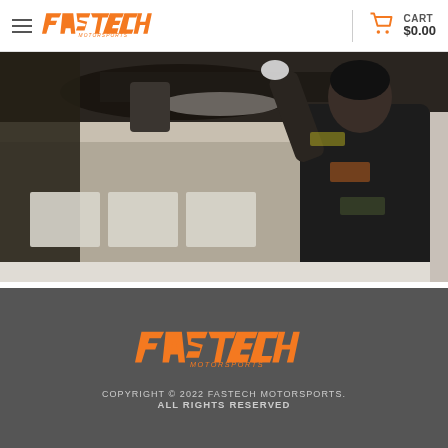Fastech Motorsports — CART $0.00
[Figure (photo): Mechanic working underneath a lifted car in a garage, wearing a black branded shirt]
[Figure (logo): Fastech Motorsports logo in orange on dark grey footer background]
COPYRIGHT © 2022 FASTECH MOTORSPORTS. ALL RIGHTS RESERVED